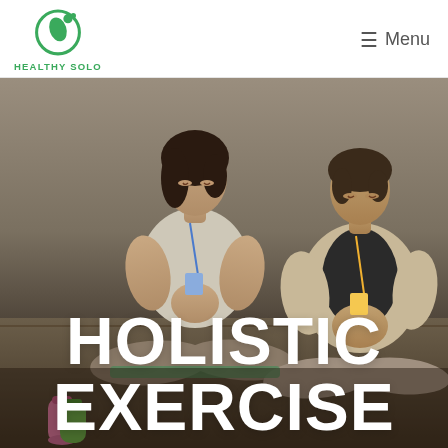[Figure (logo): Healthy Solo logo: green circular icon with leaf and person silhouette above text HEALTHY SOLO]
≡  Menu
[Figure (photo): Two women sitting cross-legged in a yoga meditation pose, hands pressed together in prayer position, eyes closed, in a dim indoor room. Text overlay reads HOLISTIC EXERCISE in large bold white letters.]
HOLISTIC EXERCISE